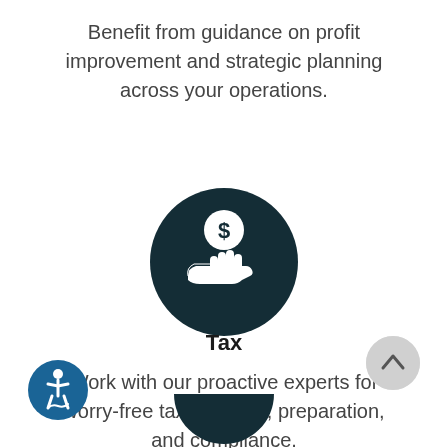Benefit from guidance on profit improvement and strategic planning across your operations.
[Figure (illustration): Dark teal circle icon with a white hand holding a dollar sign coin]
Tax
Work with our proactive experts for worry-free tax planning, preparation, and compliance.
[Figure (illustration): Grey circle button with upward arrow for scroll to top]
[Figure (illustration): Accessibility icon: blue circle with wheelchair user symbol]
[Figure (illustration): Partial dark teal circle icon at bottom of page]